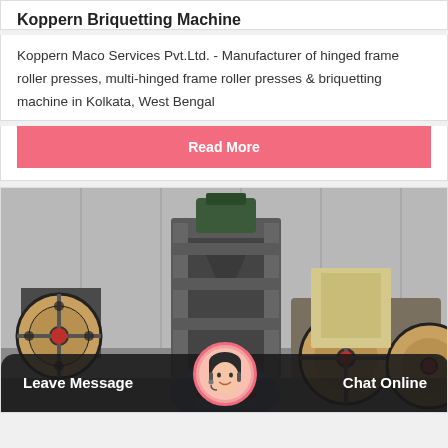Koppern Briquetting Machine
Koppern Maco Services Pvt.Ltd. - Manufacturer of hinged frame roller presses, multi-hinged frame roller presses & briquetting machine in Kolkata, West Bengal
Read More
[Figure (photo): Industrial briquetting machines and roller presses on a factory floor, showing large flywheel pulleys in red/brown and grey machinery frames in a warehouse setting.]
Leave Message
Chat Online